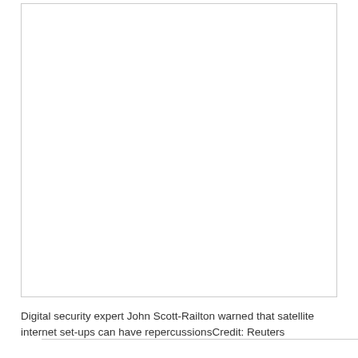[Figure (photo): A large white/blank photo placeholder with a light border, occupying the upper portion of the page.]
Digital security expert John Scott-Railton warned that satellite internet set-ups can have repercussionsCredit: Reuters